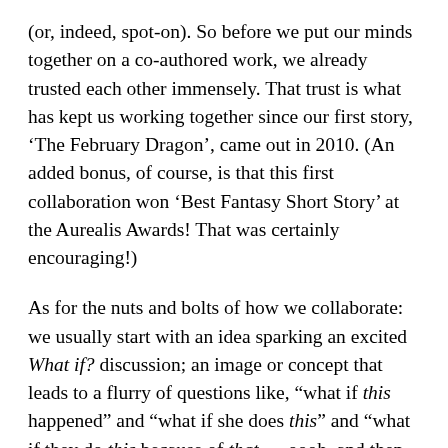(or, indeed, spot-on). So before we put our minds together on a co-authored work, we already trusted each other immensely. That trust is what has kept us working together since our first story, ‘The February Dragon’, came out in 2010. (An added bonus, of course, is that this first collaboration won ‘Best Fantasy Short Story’ at the Aurealis Awards! That was certainly encouraging!)
As for the nuts and bolts of how we collaborate: we usually start with an idea sparking an excited What if? discussion; an image or concept that leads to a flurry of questions like, “what if this happened” and “what if she does this” and “what if they do this because of that — oooh, and then that…” Since we live on opposite sides of the country, this is done via email, text messages,